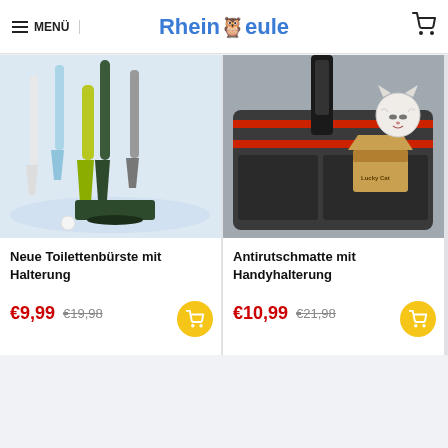MENÜ | RheinEule
[Figure (photo): Product photo of colorful toilet brushes with holders in blue, white, dark green, and yellow-green colors on a white background]
Neue Toilettenbürste mit Halterung
€9,99  €19,98
[Figure (photo): Product photo of a car anti-slip mat with phone holder, decorated with a lucky cat figurine in a cardboard box and a cat plush on the dashboard]
Antirutschmatte mit Handyhalterung
€10,99  €21,98